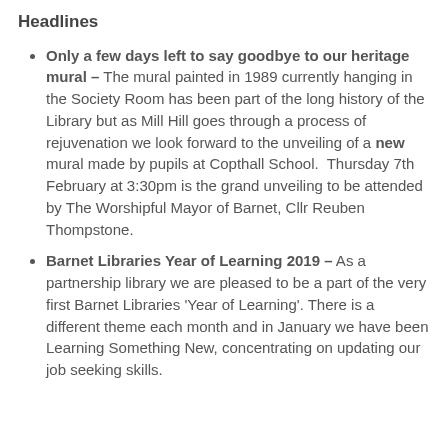Headlines
Only a few days left to say goodbye to our heritage mural – The mural painted in 1989 currently hanging in the Society Room has been part of the long history of the Library but as Mill Hill goes through a process of rejuvenation we look forward to the unveiling of a new mural made by pupils at Copthall School.  Thursday 7th February at 3:30pm is the grand unveiling to be attended by The Worshipful Mayor of Barnet, Cllr Reuben Thompstone.
Barnet Libraries Year of Learning 2019 – As a partnership library we are pleased to be a part of the very first Barnet Libraries 'Year of Learning'. There is a different theme each month and in January we have been Learning Something New, concentrating on updating our job seeking skills.